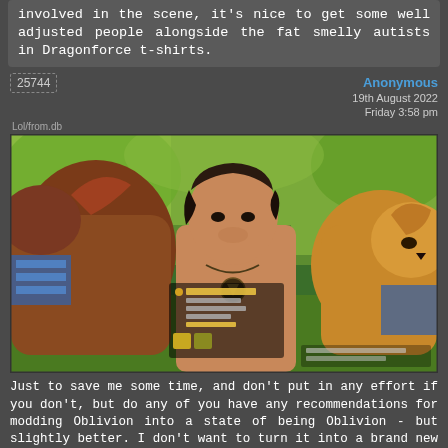involved in the scene, it's nice to get some well adjusted people alongside the fat smelly autists in Dragonforce t-shirts.
25744
Anonymous
19th August 2022
Friday 3:58 pm
[Figure (screenshot): Screenshot from The Elder Scrolls IV: Oblivion video game showing a shirtless male character with a necklace in the center, a horse or large animal on the left, and a lion/big cat on the right, with green trees in the background. A dialogue/stats menu is visible on the left side of the screen.]
Just to save me some time, and don't put in any effort if you don't, but do any of you have any recommendations for modding Oblivion into a state of being Oblivion - but slightly better. I don't want to turn it into a brand new game, just freshen it up a little bit.
25745
Anonymous